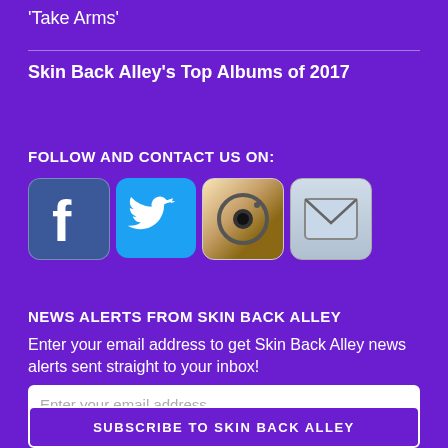'Take Arms'
Skin Back Alley's Top Albums of 2017
FOLLOW AND CONTACT US ON:
[Figure (infographic): Four social media icons: Facebook, Twitter, Instagram, Email]
NEWS ALERTS FROM SKIN BACK ALLEY
Enter your email address to get Skin Back Alley news alerts sent straight to your inbox!
Enter your email address
SUBSCRIBE TO SKIN BACK ALLEY